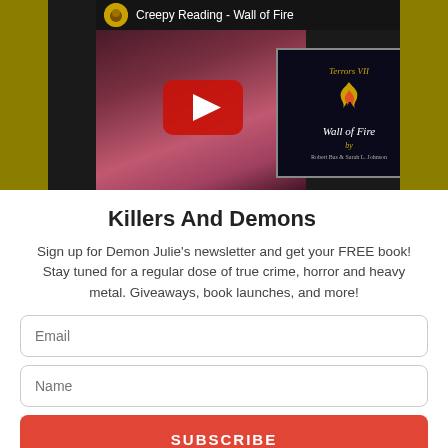[Figure (screenshot): YouTube video thumbnail showing a woman's face with a book cover for 'Terrors VII Wall of Fire'. Video title bar reads 'Creepy Reading - Wall of Fire' with a YouTube play button overlay.]
Killers And Demons
Sign up for Demon Julie's newsletter and get your FREE book! Stay tuned for a regular dose of true crime, horror and heavy metal. Giveaways, book launches, and more!
Email
Name
SUBSCRIBE